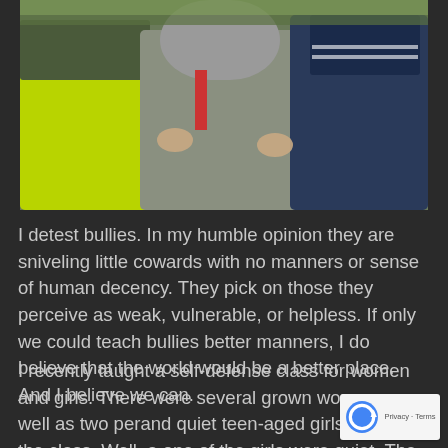[Figure (photo): Photo of children appearing to bully another child, showing a central child in a grey hoodie being surrounded by others in green and navy clothing, viewed from behind/side angles]
I detest bullies. In my humble opinion they are sniveling little cowards with no manners or sense of human decency. They pick on those they perceive as weak, vulnerable, or helpless. If only we could teach bullies better manners, I do believe that the world would be a better place. And I believe we can.
I recently taught a self-defense class for women and girls. There were several grown women as well as two pe and quiet teen-aged girls attending the class. Well, a one of the girls were quiet. The other one was a lot